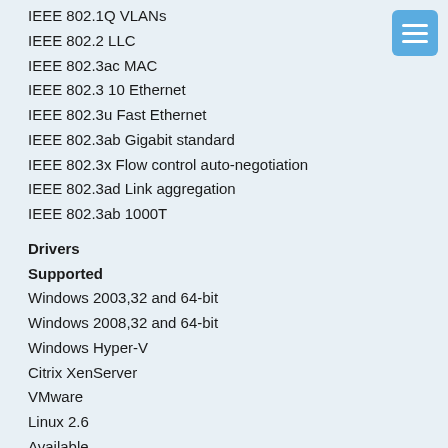IEEE 802.1Q VLANs
IEEE 802.2 LLC
IEEE 802.3ac MAC
IEEE 802.3 10 Ethernet
IEEE 802.3u Fast Ethernet
IEEE 802.3ab Gigabit standard
IEEE 802.3x Flow control auto-negotiation
IEEE 802.3ad Link aggregation
IEEE 802.3ab 1000T
Drivers
Supported
Windows 2003,32 and 64-bit
Windows 2008,32 and 64-bit
Windows Hyper-V
Citrix XenServer
VMware
Linux 2.6
Available